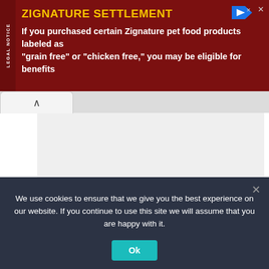ZIGNATURE SETTLEMENT
If you purchased certain Zignature pet food products labeled as “grain free” or “chicken free,” you may be eligible for benefits
[Figure (screenshot): Browser viewport showing a document with 'No Preview' placeholder text on a light gray background, with browser tab visible at top]
We use cookies to ensure that we give you the best experience on our website. If you continue to use this site we will assume that you are happy with it.